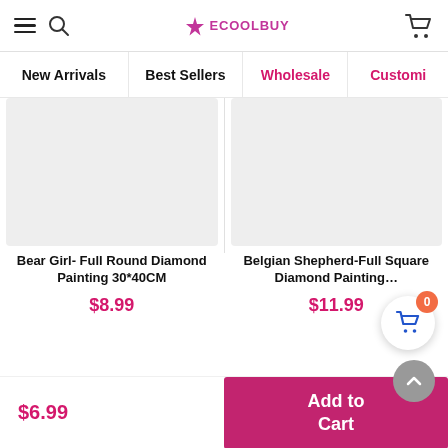ECOOLBUY
New Arrivals
Best Sellers
Wholesale
Customi…
[Figure (photo): Product image placeholder for Bear Girl - Full Round Diamond Painting 30*40CM]
Bear Girl- Full Round Diamond Painting 30*40CM
$8.99
[Figure (photo): Product image placeholder for Belgian Shepherd-Full Square Diamond Painting...]
Belgian Shepherd-Full Square Diamond Painting…
$11.99
$6.99
Add to Cart